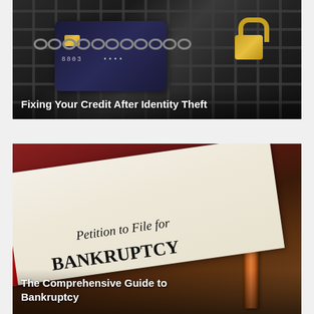[Figure (photo): Photo of a credit card wrapped in a chain with a padlock on a keyboard background]
Fixing Your Credit After Identity Theft
[Figure (photo): Photo of a judge's gavel next to a rolled document labeled 'Petition to File for BANKRUPTCY']
The Comprehensive Guide to Bankruptcy